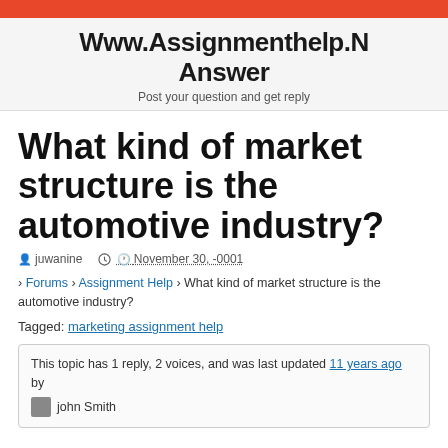Www.Assignmenthelp.N Answer — Post your question and get reply
What kind of market structure is the automotive industry?
juwanine   November 30, -0001
› Forums › Assignment Help › What kind of market structure is the automotive industry?
Tagged: marketing assignment help
This topic has 1 reply, 2 voices, and was last updated 11 years ago by john Smith